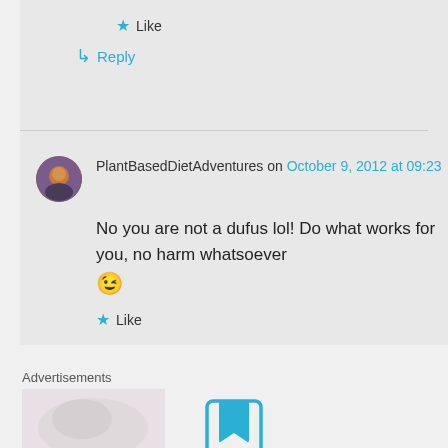★ Like
↳ Reply
PlantBasedDietAdventures on October 9, 2012 at 09:23
No you are not a dufus lol! Do what works for you, no harm whatsoever 😉
★ Like
Advertisements
[Figure (photo): Advertisement image, light pinkish-white blurry background]
[Figure (other): Bookmark/save icon, light blue square with bookmark tab shape]